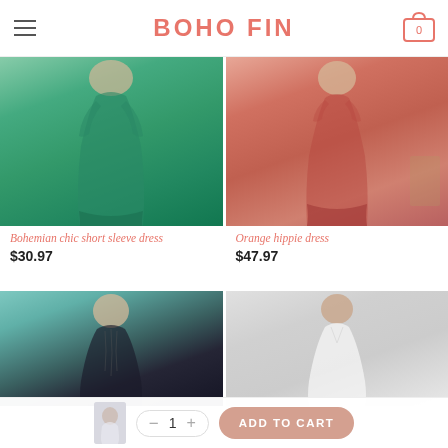BOHO FIN
[Figure (photo): Model wearing a green bohemian floral short sleeve dress]
Bohemian chic short sleeve dress
$30.97
[Figure (photo): Model wearing an orange hippie dress with floral print]
Orange hippie dress
$47.97
[Figure (photo): Model wearing a dark boho dress against teal background]
[Figure (photo): Model wearing a white dress against light background]
ADD TO CART